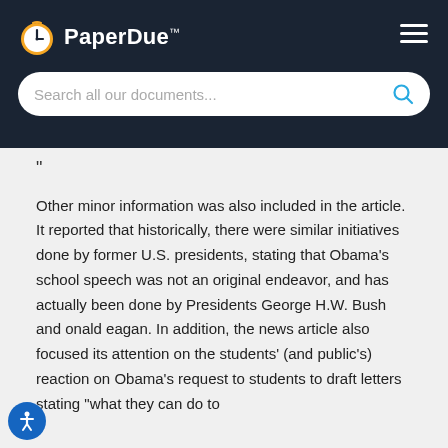PaperDue™
"
Other minor information was also included in the article. It reported that historically, there were similar initiatives done by former U.S. presidents, stating that Obama's school speech was not an original endeavor, and has actually been done by Presidents George H.W. Bush and onald eagan. In addition, the news article also focused its attention on the students' (and public's) reaction on Obama's request to students to draft letters stating "what they can do to